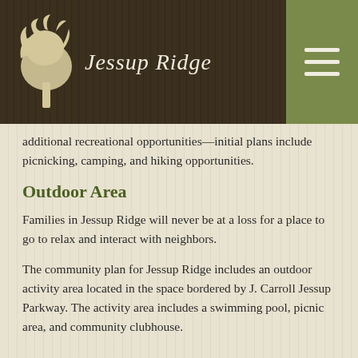Jessup Ridge
additional recreational opportunities—initial plans include picnicking, camping, and hiking opportunities.
Outdoor Area
Families in Jessup Ridge will never be at a loss for a place to go to relax and interact with neighbors.
The community plan for Jessup Ridge includes an outdoor activity area located in the space bordered by J. Carroll Jessup Parkway. The activity area includes a swimming pool, picnic area, and community clubhouse.